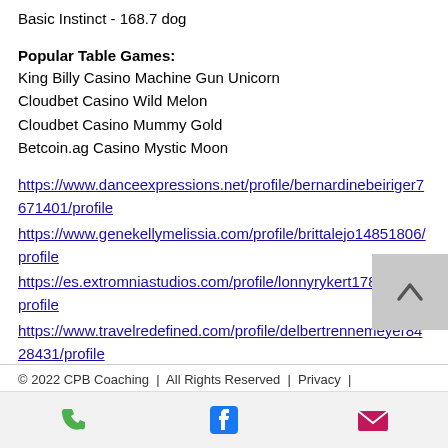Basic Instinct - 168.7 dog
Popular Table Games:
King Billy Casino Machine Gun Unicorn
Cloudbet Casino Wild Melon
Cloudbet Casino Mummy Gold
Betcoin.ag Casino Mystic Moon
https://www.danceexpressions.net/profile/bernardinebeiriger7671401/profile
https://www.genekellymelissia.com/profile/brittalejo14851806/profile
https://es.extromniastudios.com/profile/lonnyrykert17874439/profile
https://www.travelredefined.com/profile/delbertrennemeyer8428431/profile
© 2022 CPB Coaching  |  All Rights Reserved  |  Privacy  |